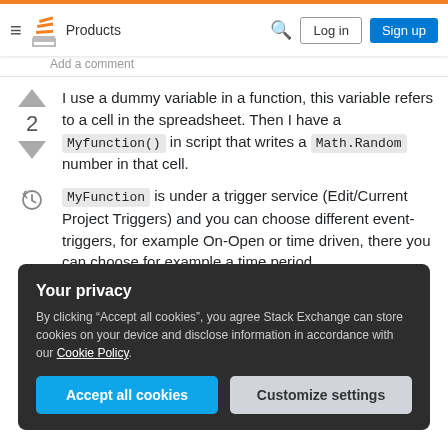≡ [Stack Overflow Logo] Products 🔍 Log in Sign up
Add a comment
I use a dummy variable in a function, this variable refers to a cell in the spreadsheet. Then I have a Myfunction() in script that writes a Math.Random number in that cell.
MyFunction is under a trigger service (Edit/Current Project Triggers) and you can choose different event-triggers, for example On-Open or time driven, there you can choose for example a time period,
Your privacy
By clicking "Accept all cookies", you agree Stack Exchange can store cookies on your device and disclose information in accordance with our Cookie Policy.
Accept all cookies  Customize settings